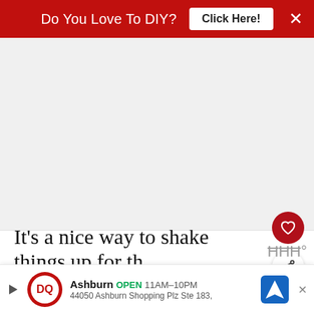Do You Love To DIY? Click Here! ×
[Figure (photo): Gray placeholder image area]
It's a nice way to shake things up for the holidays.
WHAT'S NEXT → Stunning Candle Deco...
A...
Ashburn OPEN 11AM–10PM 44050 Ashburn Shopping Plz Ste 183,